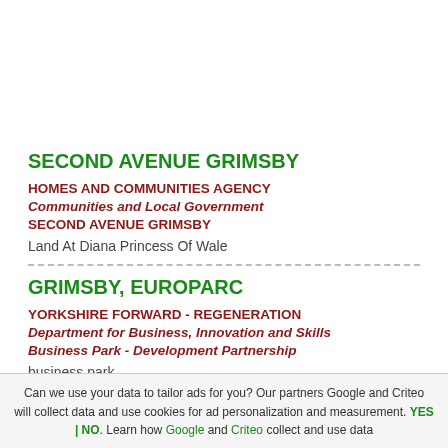SECOND AVENUE GRIMSBY
HOMES AND COMMUNITIES AGENCY
Communities and Local Government
SECOND AVENUE GRIMSBY
Land At Diana Princess Of Wale
GRIMSBY, EUROPARC
YORKSHIRE FORWARD - REGENERATION
Department for Business, Innovation and Skills
Business Park - Development Partnership
business park
DUDLEY STREET
Can we use your data to tailor ads for you? Our partners Google and Criteo will collect data and use cookies for ad personalization and measurement. YES | NO. Learn how Google and Criteo collect and use data